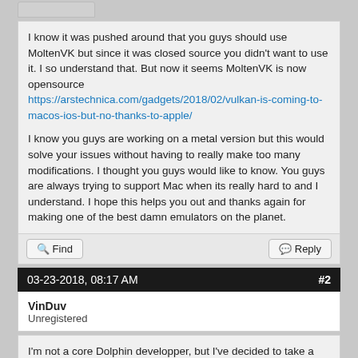I know it was pushed around that you guys should use MoltenVK but since it was closed source you didn't want to use it. I so understand that. But now it seems MoltenVK is now opensource
https://arstechnica.com/gadgets/2018/02/vulkan-is-coming-to-macos-ios-but-no-thanks-to-apple/

I know you guys are working on a metal version but this would solve your issues without having to really make too many modifications. I thought you guys would like to know. You guys are always trying to support Mac when its really hard to and I understand. I hope this helps you out and thanks again for making one of the best damn emulators on the planet.
Find    Reply
03-23-2018, 08:17 AM    #2
VinDuv
Unregistered
I'm not a core Dolphin developper, but I've decided to take a look at this.
At expected, there isn't too much to change in Dolphin to get MoltenVK running. I've pushed my changes here:
https://github.com/VinDuv/dolphin/tree/moltenvk
For now, the MoltenVK lib (libMoltenVK.dylib — can be built from